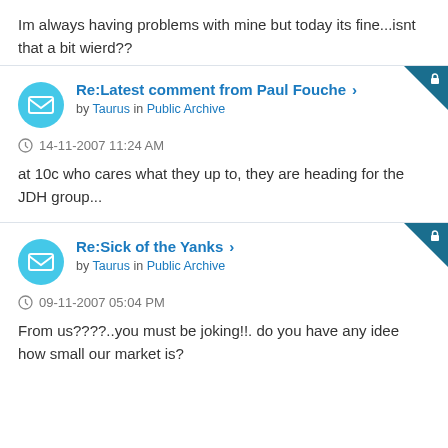Im always having problems with mine but today its fine...isnt that a bit wierd??
Re:Latest comment from Paul Fouche by Taurus in Public Archive
14-11-2007 11:24 AM
at 10c who cares what they up to, they are heading for the JDH group...
Re:Sick of the Yanks by Taurus in Public Archive
09-11-2007 05:04 PM
From us????..you must be joking!!. do you have any idee how small our market is?